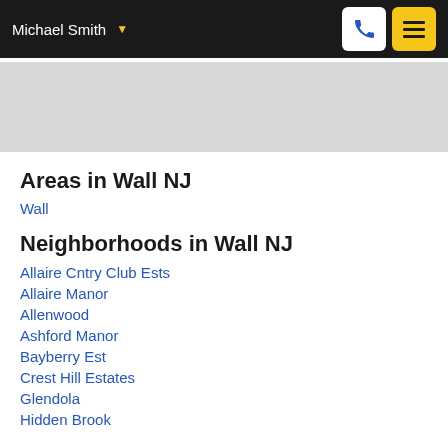Michael Smith
[Figure (map): Gray map background area]
Areas in Wall NJ
Wall
Neighborhoods in Wall NJ
Allaire Cntry Club Ests
Allaire Manor
Allenwood
Ashford Manor
Bayberry Est
Crest Hill Estates
Glendola
Hidden Brook